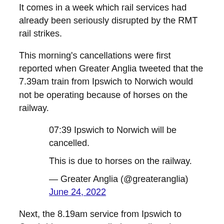It comes in a week which rail services had already been seriously disrupted by the RMT rail strikes.
This morning's cancellations were first reported when Greater Anglia tweeted that the 7.39am train from Ipswich to Norwich would not be operating because of horses on the railway.
07:39 Ipswich to Norwich will be cancelled.
This is due to horses on the railway.
— Greater Anglia (@greateranglia) June 24, 2022
Next, the 8.19am service from Ipswich to Cambridge was cancelled as well as the 9.47am service in the opposite direction.
Morning services between Ipswich and Felixstowe will